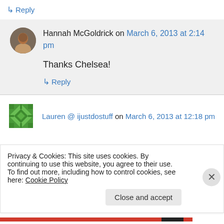↳ Reply
Hannah McGoldrick on March 6, 2013 at 2:14 pm
Thanks Chelsea!
↳ Reply
Lauren @ ijustdostuff on March 6, 2013 at 12:18 pm
Privacy & Cookies: This site uses cookies. By continuing to use this website, you agree to their use.
To find out more, including how to control cookies, see here: Cookie Policy
Close and accept